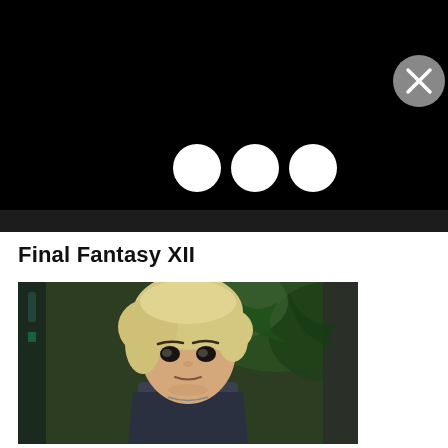[Figure (screenshot): Black video/loading area with three white dots (loading indicator) in the center and a grey circular close (X) button in the upper right corner]
Final Fantasy XII
[Figure (photo): Screenshot from Final Fantasy XII showing a young character with short blonde hair and dark eyes against a tropical green background with architectural elements]